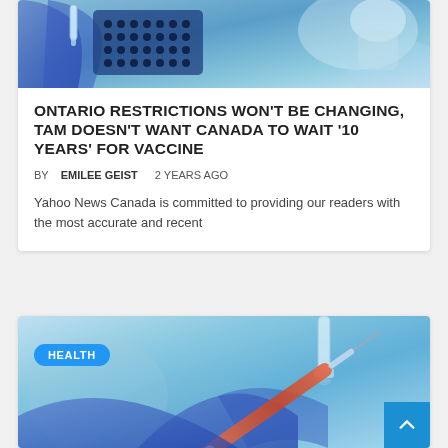[Figure (photo): Lab researcher in blue gloves handling microplate well tray, laboratory setting with blue tones]
ONTARIO RESTRICTIONS WON'T BE CHANGING, TAM DOESN'T WANT CANADA TO WAIT '10 YEARS' FOR VACCINE
BY EMILEE GEIST   2 YEARS AGO
Yahoo News Canada is committed to providing our readers with the most accurate and recent
[Figure (photo): Health-tagged lab image showing gloved hands with syringe and medical equipment, blue tones. HEALTH badge visible top left.]